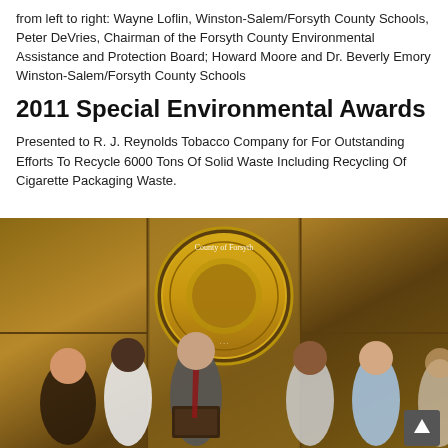from left to right: Wayne Loflin, Winston-Salem/Forsyth County Schools, Peter DeVries, Chairman of the Forsyth County Environmental Assistance and Protection Board; Howard Moore and Dr. Beverly Emory Winston-Salem/Forsyth County Schools
2011 Special Environmental Awards
Presented to R. J. Reynolds Tobacco Company for For Outstanding Efforts To Recycle 6000 Tons Of Solid Waste Including Recycling Of Cigarette Packaging Waste.
[Figure (photo): Group photo of five people standing in front of a County of Forsyth seal mounted on a wood-paneled wall. A person in a suit holds a plaque. A scroll-to-top button is visible in the lower right corner.]